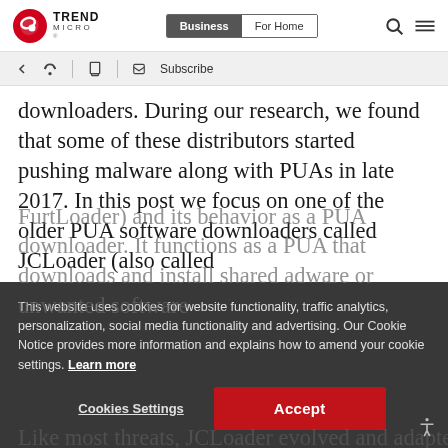Trend Micro — Business | For Home
downloaders. During our research, we found that some of these distributors started pushing malware along with PUAs in late 2017. In this post we focus on one of the older PUA software downloaders called JCLoader (also called
This website uses cookies for website functionality, traffic analytics, personalization, social media functionality and advertising. Our Cookie Notice provides more information and explains how to amend your cookie settings. Learn more
Like most threats, JCLoader evolved and adapted u...